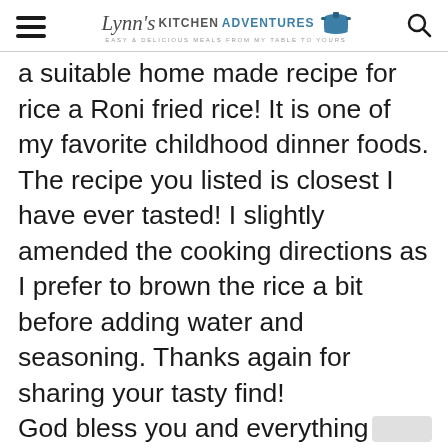Lynn's Kitchen Adventures - Easy & Delicious Meals From My Table To Yours
a suitable home made recipe for rice a Roni fried rice! It is one of my favorite childhood dinner foods. The recipe you listed is closest I have ever tasted! I slightly amended the cooking directions as I prefer to brown the rice a bit before adding water and seasoning. Thanks again for sharing your tasty find!
God bless you and everything that comes out of your kitchen adventures!